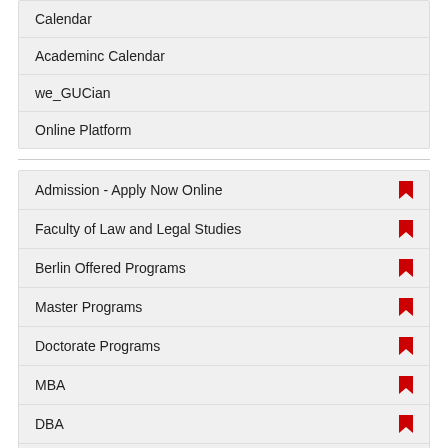Calendar
Academinc Calendar
we_GUCian
Online Platform
Admission - Apply Now Online
Faculty of Law and Legal Studies
Berlin Offered Programs
Master Programs
Doctorate Programs
MBA
DBA
Postgraduate Diplomas